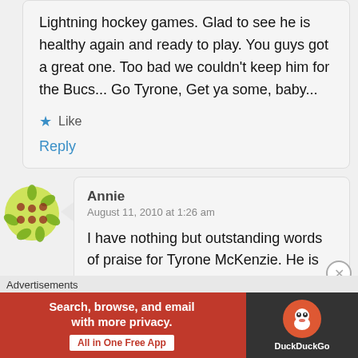Lightning hockey games. Glad to see he is healthy again and ready to play. You guys got a great one. Too bad we couldn't keep him for the Bucs... Go Tyrone, Get ya some, baby...
★ Like
Reply
[Figure (illustration): Green spiky avatar icon]
Annie
August 11, 2010 at 1:26 am
I have nothing but outstanding words of praise for Tyrone McKenzie. He is
Advertisements
[Figure (screenshot): DuckDuckGo advertisement banner: orange/red left section with text 'Search, browse, and email with more privacy. All in One Free App', dark right section with DuckDuckGo logo]